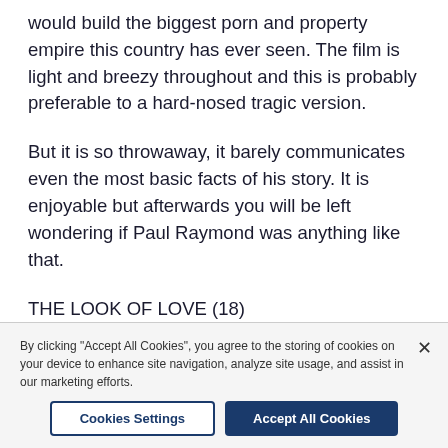would build the biggest porn and property empire this country has ever seen. The film is light and breezy throughout and this is probably preferable to a hard-nosed tragic version.
But it is so throwaway, it barely communicates even the most basic facts of his story. It is enjoyable but afterwards you will be left wondering if Paul Raymond was anything like that.
THE LOOK OF LOVE (18)
Director: Michael Winterbottom
Starring: Steve Coogan, Anna Friel, Tamsin Egerton,
By clicking "Accept All Cookies", you agree to the storing of cookies on your device to enhance site navigation, analyze site usage, and assist in our marketing efforts.